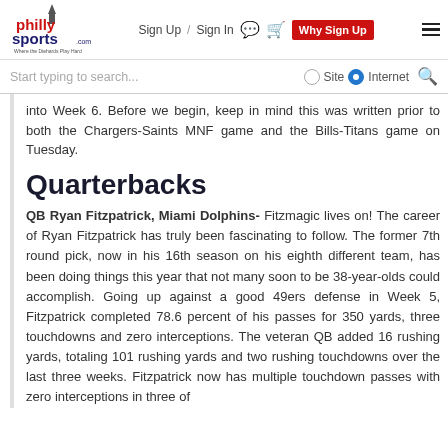Philly Sports | Sign Up / Sign In | Why Sign Up
Start typing to search... Site Internet
into Week 6. Before we begin, keep in mind this was written prior to both the Chargers-Saints MNF game and the Bills-Titans game on Tuesday.
Quarterbacks
QB Ryan Fitzpatrick, Miami Dolphins- Fitzmagic lives on! The career of Ryan Fitzpatrick has truly been fascinating to follow. The former 7th round pick, now in his 16th season on his eighth different team, has been doing things this year that not many soon to be 38-year-olds could accomplish. Going up against a good 49ers defense in Week 5, Fitzpatrick completed 78.6 percent of his passes for 350 yards, three touchdowns and zero interceptions. The veteran QB added 16 rushing yards, totaling 101 rushing yards and two rushing touchdowns over the last three weeks. Fitzpatrick now has multiple touchdown passes with zero interceptions in three of